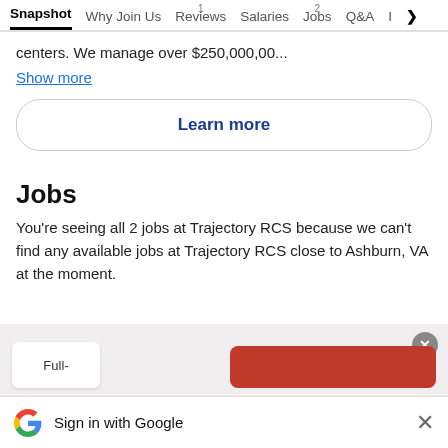Snapshot  Why Join Us  1 Reviews  Salaries  2 Jobs  Q&A  I >
centers. We manage over $250,000,00...
Show more
Learn more
Jobs
You're seeing all 2 jobs at Trajectory RCS because we can't find any available jobs at Trajectory RCS close to Ashburn, VA at the moment.
Full-
Sign in with Google